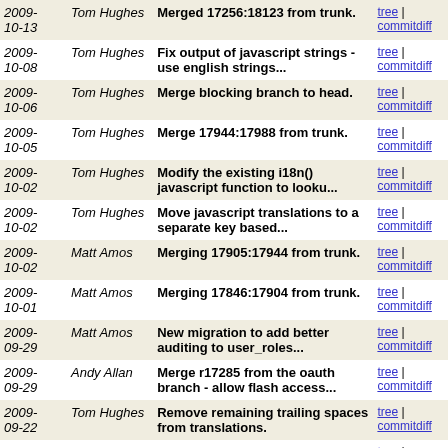| Date | Author | Message | Links |
| --- | --- | --- | --- |
| 2009-10-13 | Tom Hughes | Merged 17256:18123 from trunk. | tree | commitdiff |
| 2009-10-08 | Tom Hughes | Fix output of javascript strings - use english strings... | tree | commitdiff |
| 2009-10-06 | Tom Hughes | Merge blocking branch to head. | tree | commitdiff |
| 2009-10-05 | Tom Hughes | Merge 17944:17988 from trunk. | tree | commitdiff |
| 2009-10-02 | Tom Hughes | Modify the existing i18n() javascript function to looku... | tree | commitdiff |
| 2009-10-02 | Tom Hughes | Move javascript translations to a separate key based... | tree | commitdiff |
| 2009-10-02 | Matt Amos | Merging 17905:17944 from trunk. | tree | commitdiff |
| 2009-10-01 | Matt Amos | Merging 17846:17904 from trunk. | tree | commitdiff |
| 2009-09-29 | Matt Amos | New migration to add better auditing to user_roles... | tree | commitdiff |
| 2009-09-29 | Andy Allan | Merge r17285 from the oauth branch - allow flash access... | tree | commitdiff |
| 2009-09-22 | Tom Hughes | Remove remaining trailing spaces from translations. | tree | commitdiff |
| 2009-09-17 | Ævar Arnfjörð Bjar... | When displaying objects in /browse/* and in the JavaScr... | tree | commitdiff |
| 2009-08-18 | Tom Hughes | Merge oauth branch at r17138 to trunk. | tree | commitdiff |